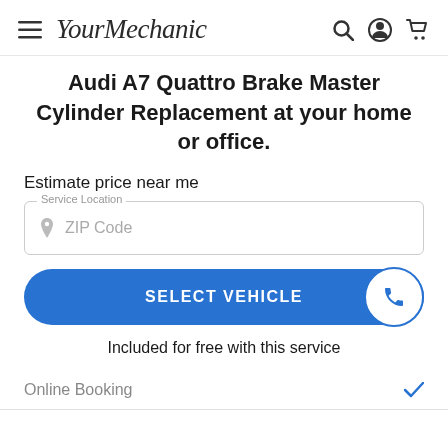YourMechanic
Audi A7 Quattro Brake Master Cylinder Replacement at your home or office.
Estimate price near me
Service Location — ZIP Code
SELECT VEHICLE
Included for free with this service
Online Booking ✓